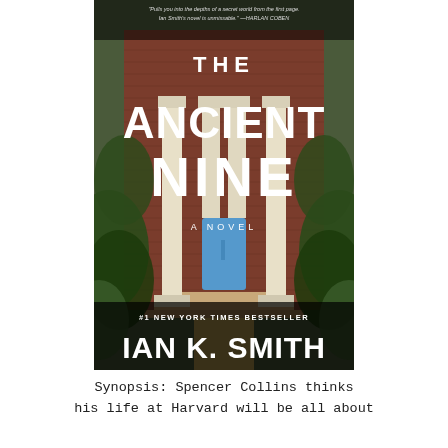[Figure (illustration): Book cover of 'The Ancient Nine' by Ian K. Smith. Cover shows a brick building with white columns and a blue door, surrounded by foliage. Text reads: 'Pulls you into the depths of a secret world from the first page. Ian Smith's novel is unmissable.' —HARLAN COBEN. Large white bold title 'THE ANCIENT NINE'. Subtitle 'A NOVEL'. '#1 NEW YORK TIMES BESTSELLER'. Author name 'IAN K. SMITH'.]
Synopsis: Spencer Collins thinks his life at Harvard will be all about